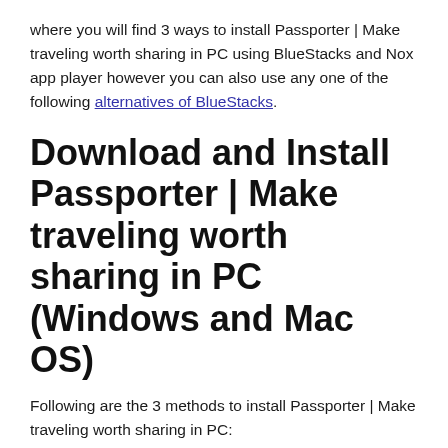where you will find 3 ways to install Passporter | Make traveling worth sharing in PC using BlueStacks and Nox app player however you can also use any one of the following alternatives of BlueStacks.
Download and Install Passporter | Make traveling worth sharing in PC (Windows and Mac OS)
Following are the 3 methods to install Passporter | Make traveling worth sharing in PC: